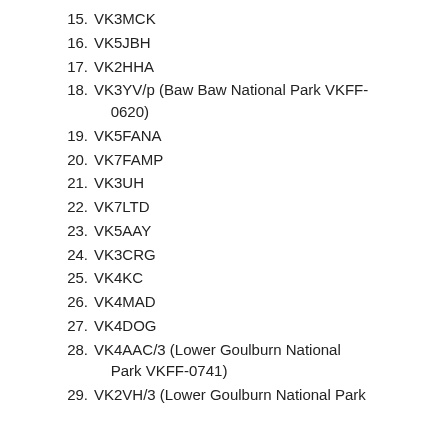15. VK3MCK
16. VK5JBH
17. VK2HHA
18. VK3YV/p (Baw Baw National Park VKFF-0620)
19. VK5FANA
20. VK7FAMP
21. VK3UH
22. VK7LTD
23. VK5AAY
24. VK3CRG
25. VK4KC
26. VK4MAD
27. VK4DOG
28. VK4AAC/3 (Lower Goulburn National Park VKFF-0741)
29. VK2VH/3 (Lower Goulburn National Park